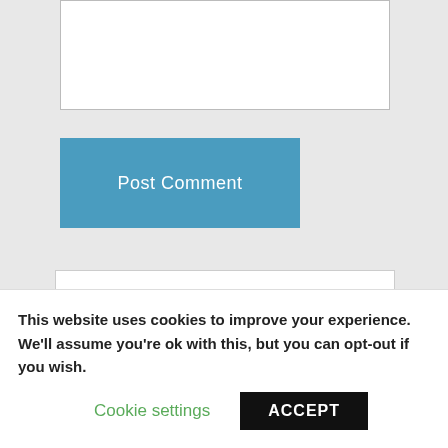[Figure (other): Text area input box for comment entry, outlined with light grey border]
Post Comment
Run a Digital Business from your laptop
[Figure (illustration): Illustration showing browser windows with 'BUY!' and 'SA...' text and a globe icon, representing digital business]
This website uses cookies to improve your experience. We'll assume you're ok with this, but you can opt-out if you wish.
Cookie settings
ACCEPT